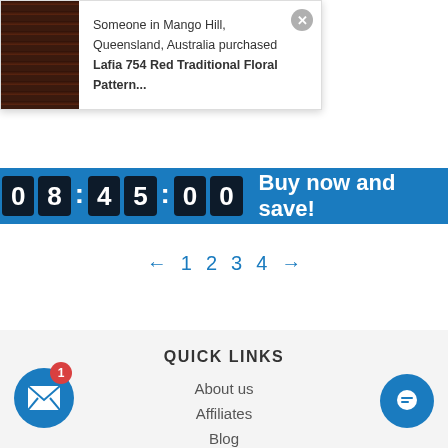[Figure (screenshot): E-commerce notification popup showing a dark reddish-brown rug image on the left, text 'Someone in Mango Hill, Queensland, Australia purchased Lafia 754 Red Traditional Floral Pattern...' on the right, with a close button (x) in the top-right corner.]
[Figure (screenshot): Blue timer bar showing countdown digits 0 8 : 4 5 : 0 0 with text 'Buy now and save!' in white.]
← 1 2 3 4 →
QUICK LINKS
About us
Affiliates
Blog
Contact Us
FAQ